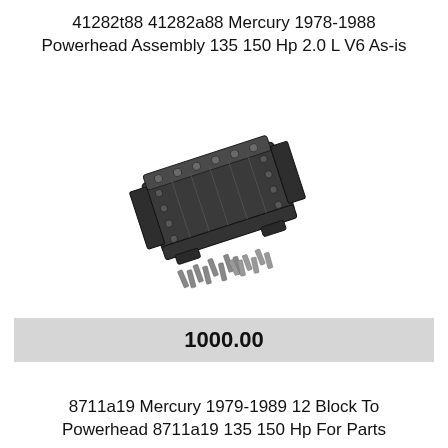41282t88 41282a88 Mercury 1978-1988 Powerhead Assembly 135 150 Hp 2.0 L V6 As-is
[Figure (photo): Mercury outboard powerhead assembly block with bolts and hardware, photographed as-is on white background]
1000.00
8711a19 Mercury 1979-1989 12 Block To Powerhead 8711a19 135 150 Hp For Parts